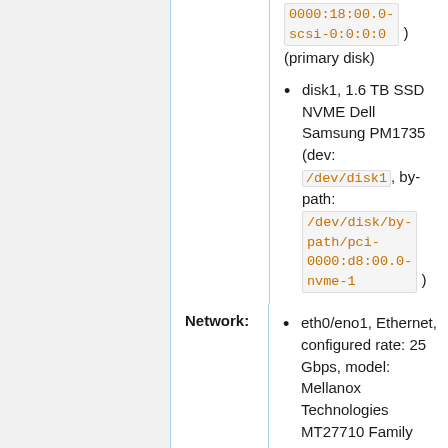0000:18:00.0-scsi-0:0:0:0 ) (primary disk)
disk1, 1.6 TB SSD NVME Dell Samsung PM1735 (dev: /dev/disk1 , by-path: /dev/disk/by-path/pci-0000:d8:00.0-nvme-1 )
Network:
eth0/eno1, Ethernet, configured rate: 25 Gbps, model: Mellanox Technologies MT27710 Family [ConnectX-4 Lx], driver: mlx5_core, SR-IOV enabled